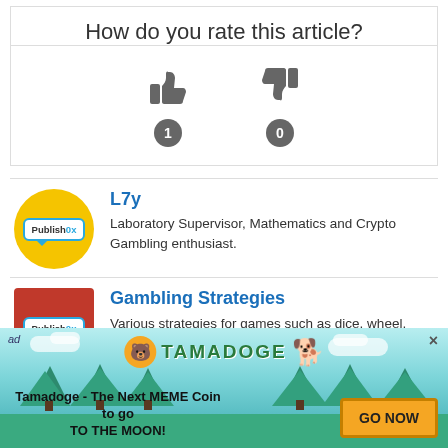How do you rate this article?
[Figure (infographic): Thumbs up icon with count badge showing 1, and thumbs down icon with count badge showing 0]
[Figure (logo): Publish0x logo on yellow circle background — author avatar for L7y]
L7y
Laboratory Supervisor, Mathematics and Crypto Gambling enthusiast.
[Figure (logo): Publish0x logo on red square background — topic avatar for Gambling Strategies]
Gambling Strategies
Various strategies for games such as dice, wheel, limbo, etc. across various gambling platforms
[Figure (infographic): Tamadoge advertisement banner with logo, dog mascot, and GO NOW button. Text: Tamadoge - The Next MEME Coin to go TO THE MOON!]